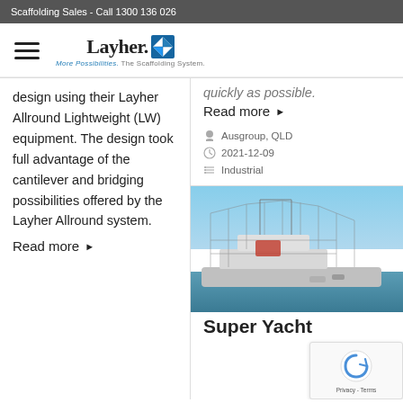Scaffolding Sales - Call 1300 136 026
[Figure (logo): Layher logo with tagline 'More Possibilities. The Scaffolding System.']
design using their Layher Allround Lightweight (LW) equipment. The design took full advantage of the cantilever and bridging possibilities offered by the Layher Allround system.
Read more ▶
quickly as possible.
Read more ▶
Ausgroup, QLD
2021-12-09
Industrial
[Figure (photo): Photo of a large yacht or ship with scaffolding structure visible, at a harbor with blue sky and water]
Super Yacht